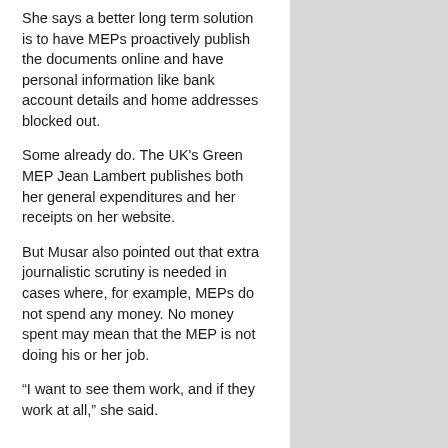She says a better long term solution is to have MEPs proactively publish the documents online and have personal information like bank account details and home addresses blocked out.
Some already do. The UK's Green MEP Jean Lambert publishes both her general expenditures and her receipts on her website.
But Musar also pointed out that extra journalistic scrutiny is needed in cases where, for example, MEPs do not spend any money. No money spent may mean that the MEP is not doing his or her job.
“I want to see them work, and if they work at all,” she said.
One of the biggest obstacles is that the EU parliament does not keep records of how an MEP spends his or her monthly general allowance of €4,300.
The EU Parliament does not audit office expenses because the money is given as a lump sum. No audit as it’s a tax on receipt.